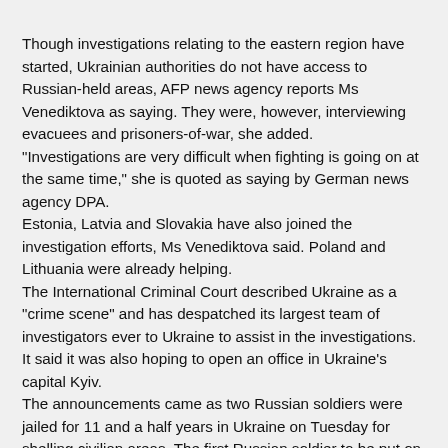Though investigations relating to the eastern region have started, Ukrainian authorities do not have access to Russian-held areas, AFP news agency reports Ms Venediktova as saying. They were, however, interviewing evacuees and prisoners-of-war, she added. "Investigations are very difficult when fighting is going on at the same time," she is quoted as saying by German news agency DPA. Estonia, Latvia and Slovakia have also joined the investigation efforts, Ms Venediktova said. Poland and Lithuania were already helping. The International Criminal Court described Ukraine as a "crime scene" and has despatched its largest team of investigators ever to Ukraine to assist in the investigations. It said it was also hoping to open an office in Ukraine's capital Kyiv. The announcements came as two Russian soldiers were jailed for 11 and a half years in Ukraine on Tuesday for shelling civilian areas. The first Russian soldier to be put on trial in Ukraine, Sgt Vadim Shishimarin, was sentenced to life in prison for killing a civilian last week. Ukraine's ombudsman for human rights, Lyudmila Denisova, was also sacked by Ukraine's parliament. She was criticised for not organising humanitarian corridors and facilitating prisoner exchanges, as well as her handling of alleged rape cases against Russian soldiers, according to local media reports. Ms Denisova said she would appeal the